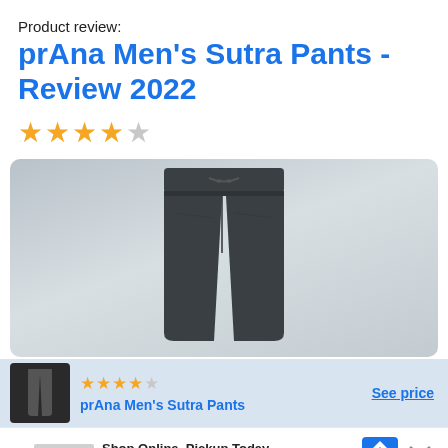Product review:
prAna Men's Sutra Pants - Review 2022
[Figure (other): Star rating showing 4 out of 5 gold stars]
[Figure (photo): Photo of prAna Men's Sutra Pants - dark grey/charcoal colored pants displayed on gradient grey background]
[Figure (other): Product card with thumbnail, 4/5 star rating, product name 'prAna Men's Sutra Pants', and 'See price' link]
Shop Online, Pickup Today
World Market